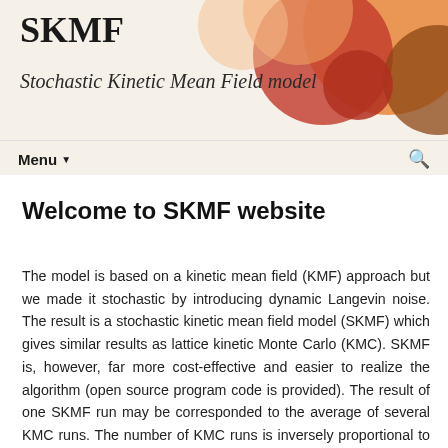SKMF
Stochastic Kinetic Mean Field model
Welcome to SKMF website
The model is based on a kinetic mean field (KMF) approach but we made it stochastic by introducing dynamic Langevin noise. The result is a stochastic kinetic mean field model (SKMF) which gives similar results as lattice kinetic Monte Carlo (KMC). SKMF is, however, far more cost-effective and easier to realize the algorithm (open source program code is provided). The result of one SKMF run may be corresponded to the average of several KMC runs. The number of KMC runs is inversely proportional to the quality because of the stochastic SKMF. This makes SKMF